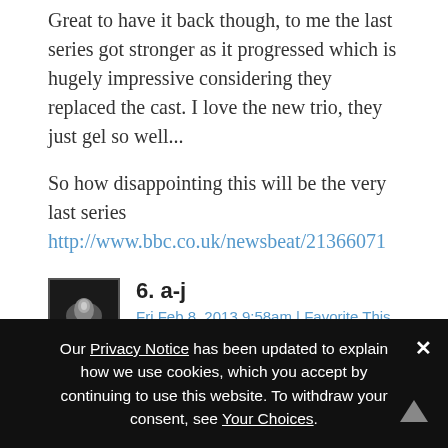Great to have it back though, to me the last series got stronger as it progressed which is hugely impressive considering they replaced the cast. I love the new trio, they just gel so well...
So how disappointing this will be the very last series http://www.bbc.co.uk/newsbeat/21366071
6. a-j
Fri Feb 8, 2013 9:58am | Favorite This
Yes, just announced last night. A victim of the licence fee freeze. Hey ho.
Our Privacy Notice has been updated to explain how we use cookies, which you accept by continuing to use this website. To withdraw your consent, see Your Choices.